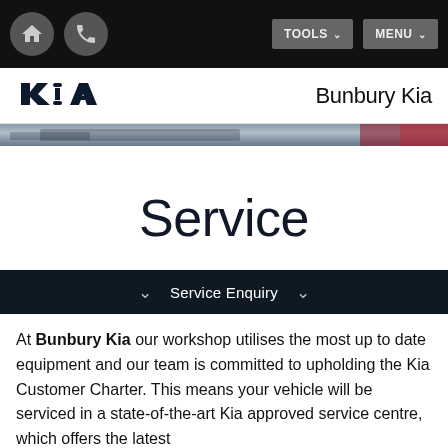TOOLS  MENU
[Figure (logo): Kia logo (stylized KIA lettering in dark navy)]
Bunbury Kia
[Figure (photo): Partial hero banner showing a dark car and red Kia branding element]
Service
Service Enquiry
At Bunbury Kia our workshop utilises the most up to date equipment and our team is committed to upholding the Kia Customer Charter. This means your vehicle will be serviced in a state-of-the-art Kia approved service centre, which offers the latest